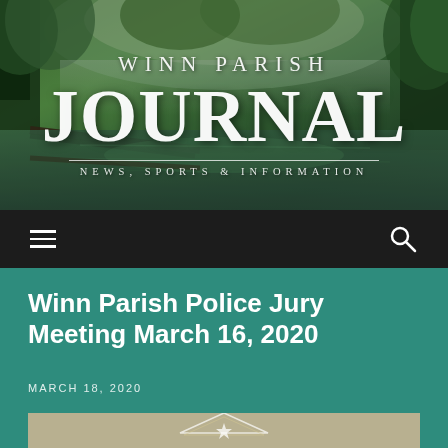[Figure (photo): Winn Parish Journal newspaper website header banner showing a swamp/bayou scene with cypress trees and green foliage reflected in still water]
WINN PARISH JOURNAL
NEWS, SPORTS & INFORMATION
[Figure (screenshot): Dark navigation bar with hamburger menu icon on the left and search icon on the right]
Winn Parish Police Jury Meeting March 16, 2020
MARCH 18, 2020
[Figure (photo): Partial image of what appears to be a seal or emblem with a star visible at the bottom of the page, on a tan/khaki background]